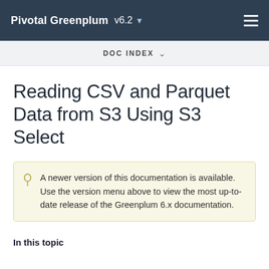Pivotal Greenplum v6.2
Reading CSV and Parquet Data from S3 Using S3 Select
A newer version of this documentation is available. Use the version menu above to view the most up-to-date release of the Greenplum 6.x documentation.
In this topic